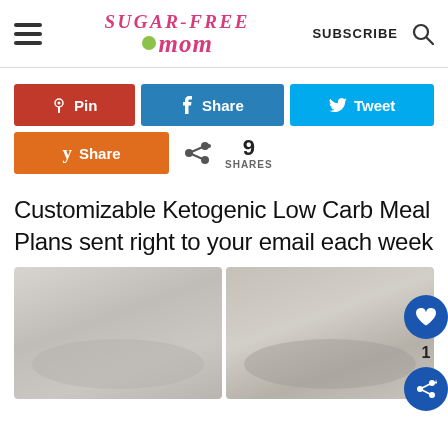Sugar-Free Mom — SUBSCRIBE
[Figure (screenshot): Social share buttons: Pin (red), Share (blue/Facebook), Tweet (cyan/Twitter), Share (orange/Yummly), with share count of 9]
Customizable Ketogenic Low Carb Meal Plans sent right to your email each week
[Figure (photo): Two bowls of food side by side — left bowl appears to contain shredded chicken or similar light-colored food, right bowl contains a brown grain or cereal dish]